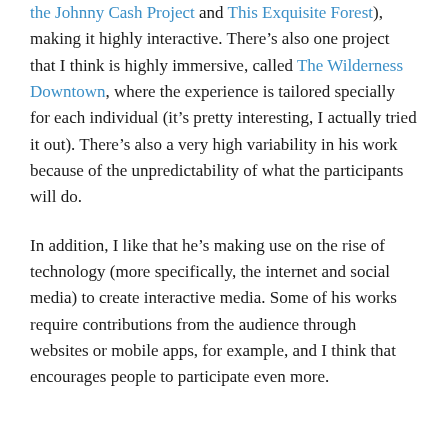the Johnny Cash Project and This Exquisite Forest), making it highly interactive. There's also one project that I think is highly immersive, called The Wilderness Downtown, where the experience is tailored specially for each individual (it's pretty interesting, I actually tried it out). There's also a very high variability in his work because of the unpredictability of what the participants will do.
In addition, I like that he's making use on the rise of technology (more specifically, the internet and social media) to create interactive media. Some of his works require contributions from the audience through websites or mobile apps, for example, and I think that encourages people to participate even more.